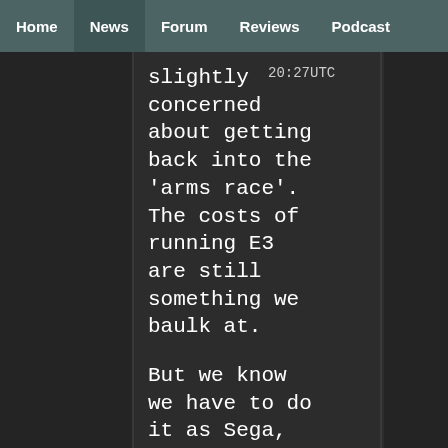Home | News | Forum | Reviews | Podcast
slightly concerned about getting back into the 'arms race'. The costs of running E3 are still something we baulk at.
20:27UTC
But we know we have to do it as Sega, and we have a ton of product to show. To not